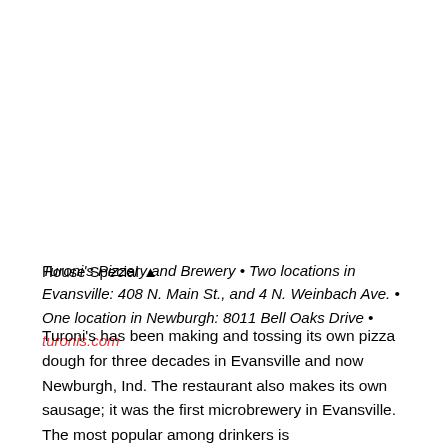House Special ▲
Turoni's Pizzery and Brewery • Two locations in Evansville: 408 N. Main St., and 4 N. Weinbach Ave. • One location in Newburgh: 8011 Bell Oaks Drive • turonis.com
Turoni's has been making and tossing its own pizza dough for three decades in Evansville and now Newburgh, Ind. The restaurant also makes its own sausage; it was the first microbrewery in Evansville. The most popular among drinkers is